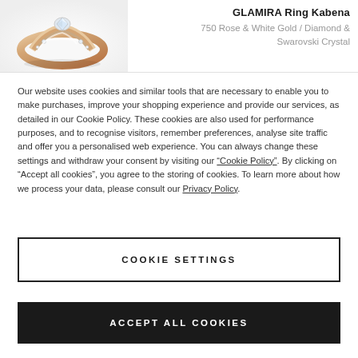[Figure (photo): Photo of a rose gold and white gold diamond ring (GLAMIRA Ring Kabena)]
GLAMIRA Ring Kabena
750 Rose & White Gold / Diamond & Swarovski Crystal
Our website uses cookies and similar tools that are necessary to enable you to make purchases, improve your shopping experience and provide our services, as detailed in our Cookie Policy. These cookies are also used for performance purposes, and to recognise visitors, remember preferences, analyse site traffic and offer you a personalised web experience. You can always change these settings and withdraw your consent by visiting our “Cookie Policy”. By clicking on “Accept all cookies”, you agree to the storing of cookies. To learn more about how we process your data, please consult our Privacy Policy.
COOKIE SETTINGS
ACCEPT ALL COOKIES